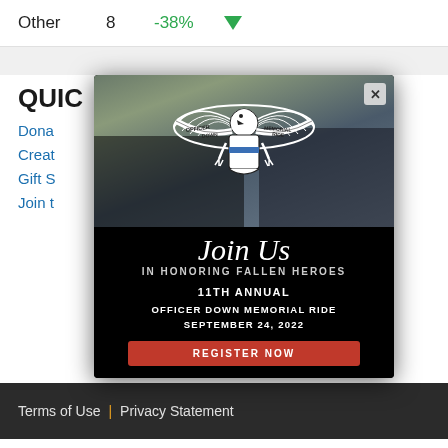|  |  |  |  |
| --- | --- | --- | --- |
| Other | 8 | -38% | ▼ |
[Figure (screenshot): Modal popup for Officer Down Memorial Ride event. Shows motorcycle photo background with eagle logo, text 'Join Us IN HONORING FALLEN HEROES', '11TH ANNUAL OFFICER DOWN MEMORIAL RIDE SEPTEMBER 24, 2022', and a red REGISTER NOW button. Has X close button in top right corner.]
QUIC
Dona
Creat
Gift S
Join t
Terms of Use | Privacy Statement